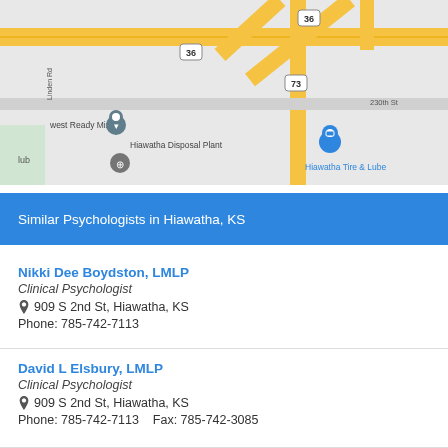[Figure (map): Google Maps screenshot showing roads near Hiawatha, KS including Highway 36, Highway 73, 230th St, Linden Rd, with markers for 'west Ready Mix', 'Hiawatha Disposal Plant', 'Hiawatha Tire & Lube', and other locations.]
Similar Psychologists in Hiawatha, KS
Nikki Dee Boydston, LMLP
Clinical Psychologist
909 S 2nd St, Hiawatha, KS
Phone: 785-742-7113
David L Elsbury, LMLP
Clinical Psychologist
909 S 2nd St, Hiawatha, KS
Phone: 785-742-7113    Fax: 785-742-3085